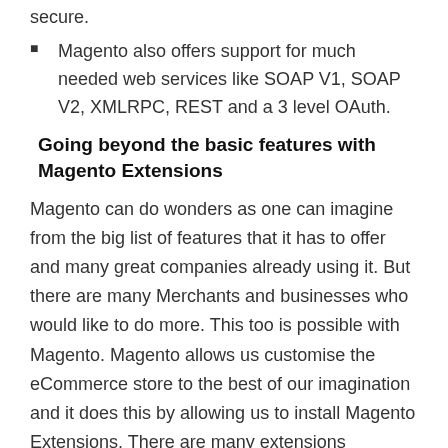secure.
Magento also offers support for much needed web services like SOAP V1, SOAP V2, XMLRPC, REST and a 3 level OAuth.
Going beyond the basic features with Magento Extensions
Magento can do wonders as one can imagine from the big list of features that it has to offer and many great companies already using it. But there are many Merchants and businesses who would like to do more. This too is possible with Magento. Magento allows us customise the eCommerce store to the best of our imagination and it does this by allowing us to install Magento Extensions. There are many extensions available online in many different categories for anyone to install, some of them are